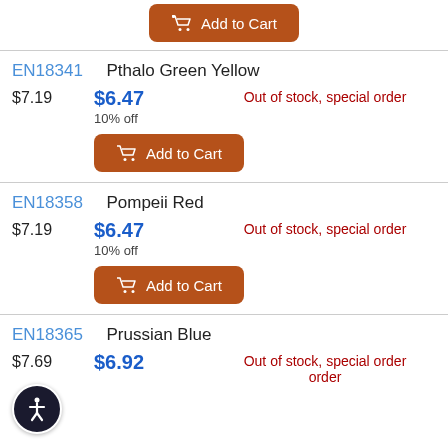Add to Cart
EN18341 Pthalo Green Yellow
$7.19   $6.47   10% off   Out of stock, special order
Add to Cart
EN18358 Pompeii Red
$7.19   $6.47   10% off   Out of stock, special order
Add to Cart
EN18365 Prussian Blue
$7.69   $6.92   Out of stock, special order